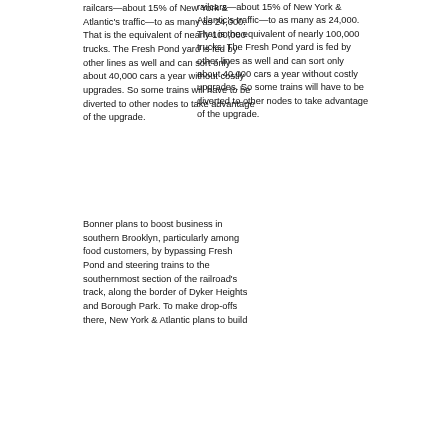railcars—about 15% of New York & Atlantic's traffic—to as many as 24,000. That is the equivalent of nearly 100,000 trucks. The Fresh Pond yard is fed by other lines as well and can sort only about 40,000 cars a year without costly upgrades. So some trains will have to be diverted to other nodes to take advantage of the upgrade.
Bonner plans to boost business in southern Brooklyn, particularly among food customers, by bypassing Fresh Pond and steering trains to the southernmost section of the railroad's track, along the border of Dyker Heights and Borough Park. To make drop-offs there, New York & Atlantic plans to build